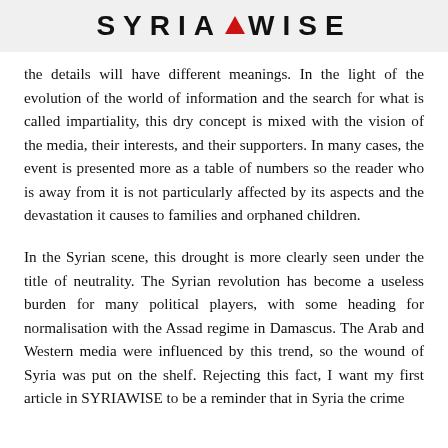SYRIAWISE
the details will have different meanings. In the light of the evolution of the world of information and the search for what is called impartiality, this dry concept is mixed with the vision of the media, their interests, and their supporters. In many cases, the event is presented more as a table of numbers so the reader who is away from it is not particularly affected by its aspects and the devastation it causes to families and orphaned children.
In the Syrian scene, this drought is more clearly seen under the title of neutrality. The Syrian revolution has become a useless burden for many political players, with some heading for normalisation with the Assad regime in Damascus. The Arab and Western media were influenced by this trend, so the wound of Syria was put on the shelf. Rejecting this fact, I want my first article in SYRIAWISE to be a reminder that in Syria the crime